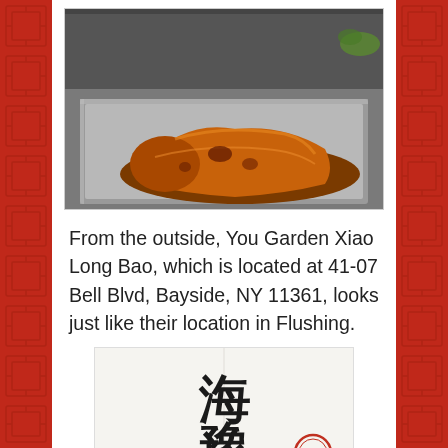[Figure (photo): A roasted/lacquered duck or pig being prepared in a metal tray, with a gloved hand visible above holding equipment. The meat is dark golden-brown and shiny.]
From the outside, You Garden Xiao Long Bao, which is located at 41-07 Bell Blvd, Bayside, NY 11361, looks just like their location in Flushing.
[Figure (photo): A white bag or packaging with large Chinese characters (海 豫) printed in black, with a red seal stamp partially visible at the bottom right.]